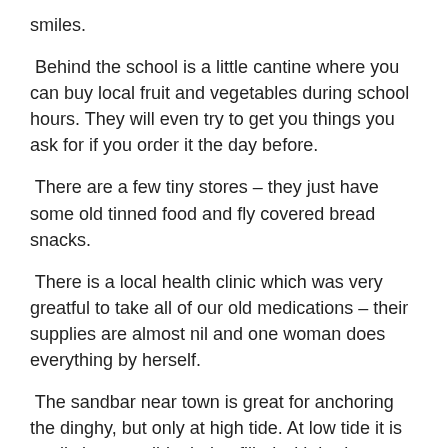smiles.
Behind the school is a little cantine where you can buy local fruit and vegetables during school hours. They will even try to get you things you ask for if you order it the day before.
There are a few tiny stores – they just have some old tinned food and fly covered bread snacks.
There is a local health clinic which was very greatful to take all of our old medications – their supplies are almost nil and one woman does everything by herself.
The sandbar near town is great for anchoring the dinghy, but only at high tide. At low tide it is totally inaccessible, being filled with broken hunks of coral.
The alternative to the sandbar is a nice sandy beach